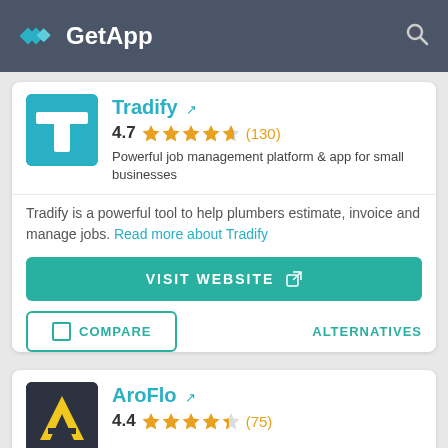GetApp
Tradify
4.7 ★★★★½ (130)
Powerful job management platform & app for small businesses
Tradify is a powerful tool to help plumbers estimate, invoice and manage jobs. Read more about Tradify
VISIT WEBSITE
COMPARE
ALTERNATIVES
AroFlo
4.4 ★★★★½ (75)